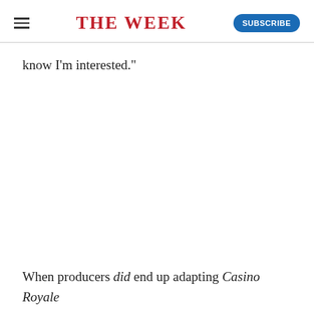THE WEEK
know I'm interested."
When producers did end up adapting Casino Royale